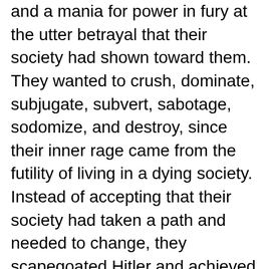and a mania for power in fury at the utter betrayal that their society had shown toward them. They wanted to crush, dominate, subjugate, subvert, sabotage, sodomize, and destroy, since their inner rage came from the futility of living in a dying society. Instead of accepting that their society had taken a path and needed to change, they scapegoated Hitler and achieved world democratic victory, then used that mob rule to cement their power forever at home, much as they had scapegoated the Germans in the first world war and the Confederates during the Civil War for the crime of “noticing” that the